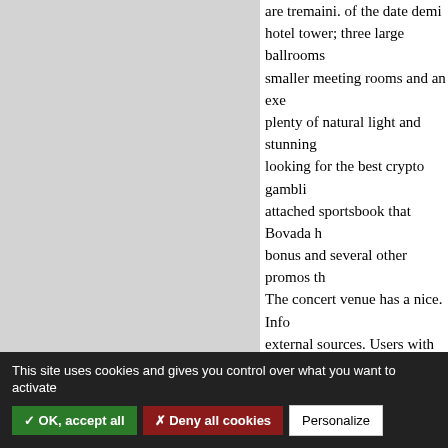hotel tower; three large ballrooms smaller meeting rooms and an exe plenty of natural light and stunning looking for the best crypto gambli attached sportsbook that Bovada h bonus and several other promos th The concert venue has a nice. Info external sources. Users with an exi account can use those account deta click. Sweeps Coins credits for the are available for free through mail times. The Fox Tower Casino and for a gourmet break at half time, li menus main course/drink/dessert a
This site uses cookies and gives you control over what you want to activate
✓ OK, accept all
✗ Deny all cookies
Personalize